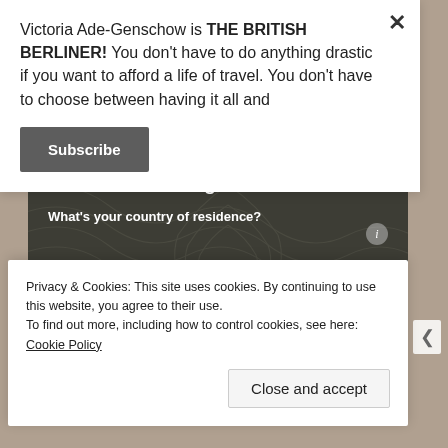Victoria Ade-Genschow is THE BRITISH BERLINER! You don't have to do anything drastic if you want to afford a life of travel. You don't have to choose between having it all and
[Figure (screenshot): Subscribe button in a popup overlay with dark gray background and white bold text reading 'Subscribe']
2. Who is traveling?
What's your country of residence?
[Figure (screenshot): Text input field with placeholder text 'e.g. Australia']
Privacy & Cookies: This site uses cookies. By continuing to use this website, you agree to their use.
To find out more, including how to control cookies, see here: Cookie Policy
[Figure (screenshot): Close and accept button in cookies consent banner]